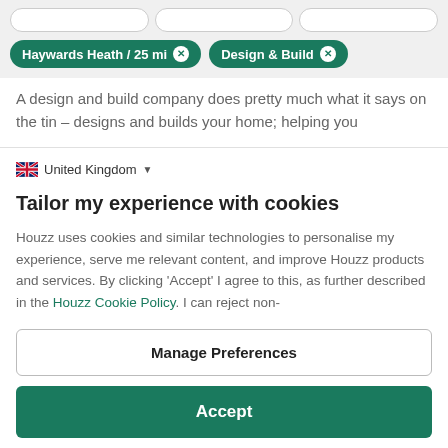[Figure (screenshot): Search filter tags showing 'Haywards Heath / 25 mi' and 'Design & Build' as removable pill buttons on a grey background]
A design and build company does pretty much what it says on the tin – designs and builds your home; helping you
United Kingdom
Tailor my experience with cookies
Houzz uses cookies and similar technologies to personalise my experience, serve me relevant content, and improve Houzz products and services. By clicking 'Accept' I agree to this, as further described in the Houzz Cookie Policy. I can reject non-
Manage Preferences
Accept